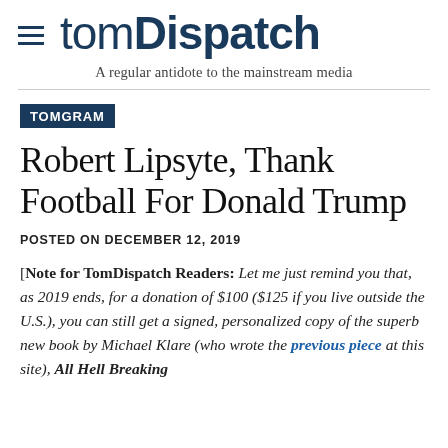TomDispatch — A regular antidote to the mainstream media
TOMGRAM
Robert Lipsyte, Thank Football For Donald Trump
POSTED ON DECEMBER 12, 2019
[Note for TomDispatch Readers: Let me just remind you that, as 2019 ends, for a donation of $100 ($125 if you live outside the U.S.), you can still get a signed, personalized copy of the superb new book by Michael Klare (who wrote the previous piece at this site), All Hell Breaking